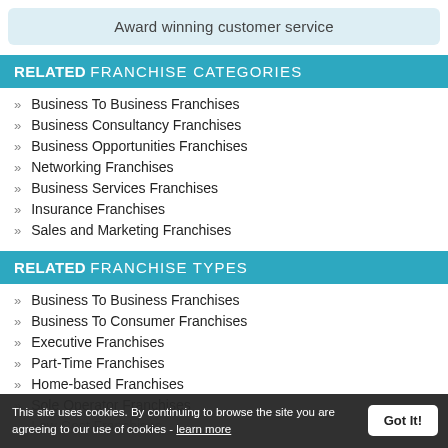Award winning customer service
RELATED FRANCHISE CATEGORIES
Business To Business Franchises
Business Consultancy Franchises
Business Opportunities Franchises
Networking Franchises
Business Services Franchises
Insurance Franchises
Sales and Marketing Franchises
RELATED FRANCHISE TYPES
Business To Business Franchises
Business To Consumer Franchises
Executive Franchises
Part-Time Franchises
Home-based Franchises
Sole Operator Franchises
Low Cost Franchises
This site uses cookies. By continuing to browse the site you are agreeing to our use of cookies - learn more